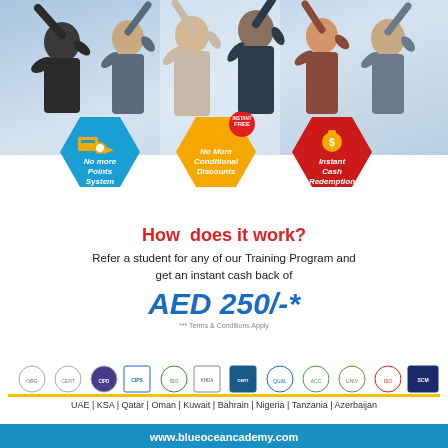[Figure (photo): Group of diverse happy business people with arms raised celebrating]
[Figure (infographic): Three hexagonal badges: blue 'No more Points System', yellow/orange 'No More Conditional Discounts' with FREE badge, red 'Instant Cash Redemption']
How does it work?
Refer a student for any of our Training Program and get an instant cash back of
AED 250/-*
*** Terms & Conditions Apply
[Figure (logo): Row of certification and accreditation logos]
UAE | KSA | Qatar | Oman | Kuwait | Bahrain | Nigeria | Tanzania | Azerbaijan
www.blueoceancademy.com